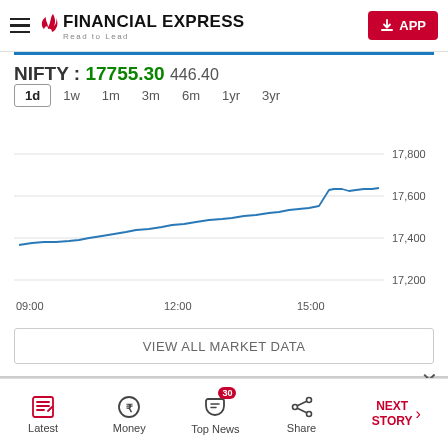Financial Express — Read to Lead
NIFTY : 17755.30   446.40
[Figure (continuous-plot): NIFTY 50 intraday line chart showing price rising from approximately 17,380 at 09:00 to approximately 17,800 at 15:00+. Y-axis labels: 17,200, 17,400, 17,600, 17,800. X-axis labels: 09:00, 12:00, 15:00. Time range tabs: 1d (active), 1w, 1m, 3m, 6m, 1yr, 3yr.]
VIEW ALL MARKET DATA
Latest   Money   Top News (30)   Share   NEXT STORY →